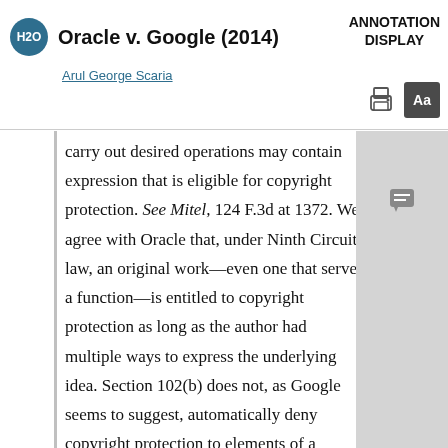Oracle v. Google (2014) — Arul George Scaria — ANNOTATION DISPLAY
carry out desired operations may contain expression that is eligible for copyright protection. See Mitel, 124 F.3d at 1372. We agree with Oracle that, under Ninth Circuit law, an original work—even one that serves a function—is entitled to copyright protection as long as the author had multiple ways to express the underlying idea. Section 102(b) does not, as Google seems to suggest, automatically deny copyright protection to elements of a computer program that are functional. Instead, as noted, Section 102(b) codifies the